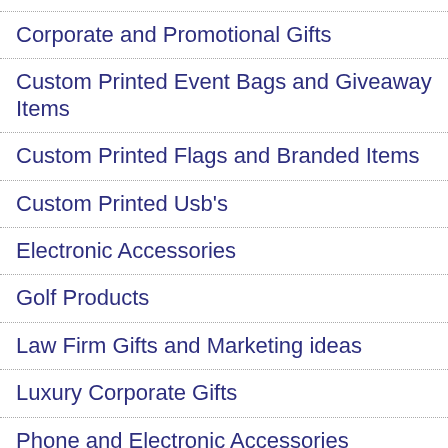Corporate and Promotional Gifts
Custom Printed Event Bags and Giveaway Items
Custom Printed Flags and Branded Items
Custom Printed Usb's
Electronic Accessories
Golf Products
Law Firm Gifts and Marketing ideas
Luxury Corporate Gifts
Phone and Electronic Accessories
Products (Promotional Items)